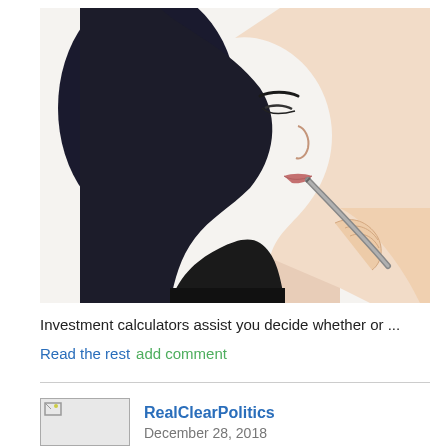[Figure (photo): Woman in profile view holding a pen to her lips in a thinking pose, against a white background, wearing black clothing with dark hair.]
Investment calculators assist you decide whether or ...
Read the rest add comment
RealClearPolitics
December 28, 2018